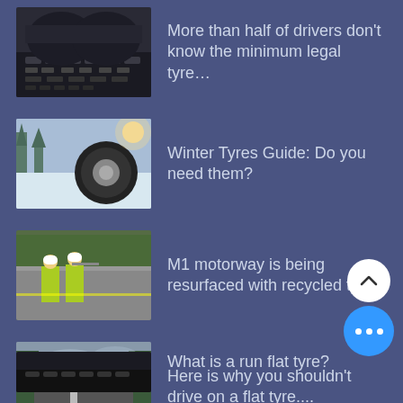More than half of drivers don't know the minimum legal tyre...
Winter Tyres Guide: Do you need them?
M1 motorway is being resurfaced with recycled tyres
Here is why you shouldn't drive on a flat tyre....
What is a run flat tyre?